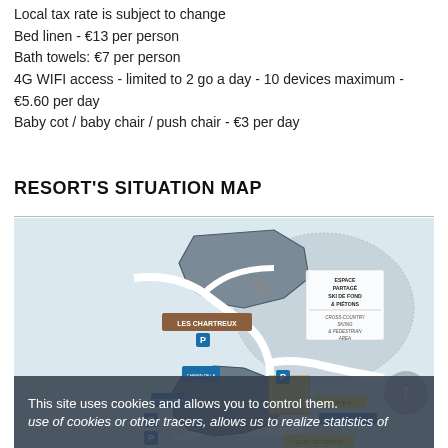Local tax rate is subject to change
Bed linen - €13 per person
Bath towels: €7 per person
4G WIFI access - limited to 2 go a day - 10 devices maximum - €5.60 per day
Baby cot / baby chair / push chair - €3 per day
RESORT'S SITUATION MAP
[Figure (map): Resort situation map showing Les Chartreux area with roads, buildings, ski de fond / cross-country skiing and pedestrian area (Espace Partagé Ski de Fond & Piétons / Cross-Country Skiing & Pedestrian Area), parking areas, and surrounding terrain. Navigation arrow (north/up) is visible in lower-right.]
This site uses cookies and allows you to control them. use of cookies or other tracers, allows us to realize statistics of